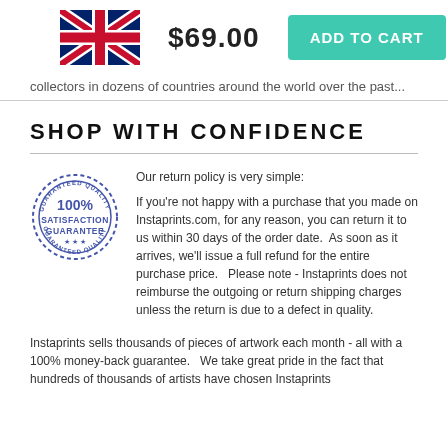[Figure (illustration): Union Jack UK flag icon]
$69.00
ADD TO CART
collectors in dozens of countries around the world over the past...
SHOP WITH CONFIDENCE
[Figure (illustration): 100% Satisfaction Guarantee stamp/seal in blue]
Our return policy is very simple:

If you're not happy with a purchase that you made on Instaprints.com, for any reason, you can return it to us within 30 days of the order date.  As soon as it arrives, we'll issue a full refund for the entire purchase price.   Please note - Instaprints does not reimburse the outgoing or return shipping charges unless the return is due to a defect in quality.
Instaprints sells thousands of pieces of artwork each month - all with a 100% money-back guarantee.   We take great pride in the fact that hundreds of thousands of artists have chosen Instaprints